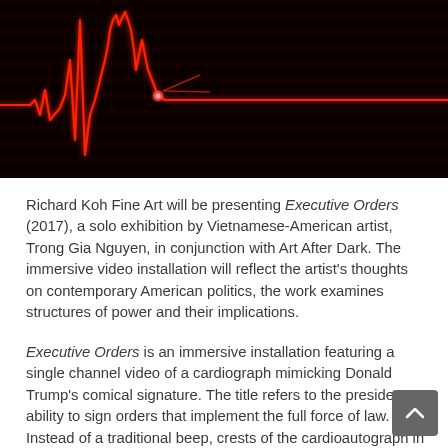[Figure (photo): A dark black background with a red grid/crosshatch pattern. A red EKG/cardiograph line traces across the image, with a distinctive erratic spike resembling a signature in the center-left area, and a glowing red dot near the peak of the spike.]
Richard Koh Fine Art will be presenting Executive Orders (2017), a solo exhibition by Vietnamese-American artist, Trong Gia Nguyen, in conjunction with Art After Dark. The immersive video installation will reflect the artist's thoughts on contemporary American politics, the work examines structures of power and their implications.
Executive Orders is an immersive installation featuring a single channel video of a cardiograph mimicking Donald Trump's comical signature. The title refers to the president's ability to sign orders that implement the full force of law. Instead of a traditional beep, crests of the cardioautograph in the video installation